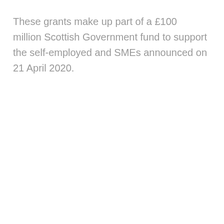These grants make up part of a £100 million Scottish Government fund to support the self-employed and SMEs announced on 21 April 2020.